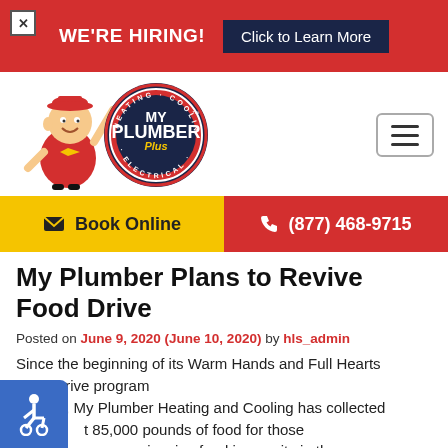WE'RE HIRING! Click to Learn More
[Figure (logo): My Plumber Plus logo with mascot character holding a wrench, circular badge with 'My Plumber Plus' and 'Heating Cooling Electrical']
Book Online
(877) 468-9715
My Plumber Plans to Revive Food Drive
Posted on June 9, 2020 (June 10, 2020) by hls_admin
Since the beginning of its Warm Hands and Full Hearts Food Drive program in 2004, My Plumber Heating and Cooling has collected about 85,000 pounds of food for those who are experiencing food insecurity in the area.